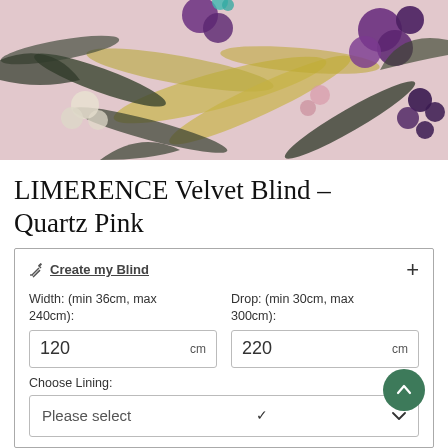[Figure (photo): Close-up photo of LIMERENCE Velvet Blind fabric in Quartz Pink colorway, showing a tropical floral pattern with purple flowers, green and yellow palm leaves on a pink/mauve background.]
LIMERENCE Velvet Blind – Quartz Pink
Create my Blind
Width: (min 36cm, max 240cm):
120 cm
Drop: (min 30cm, max 300cm):
220 cm
Choose Lining:
Please select